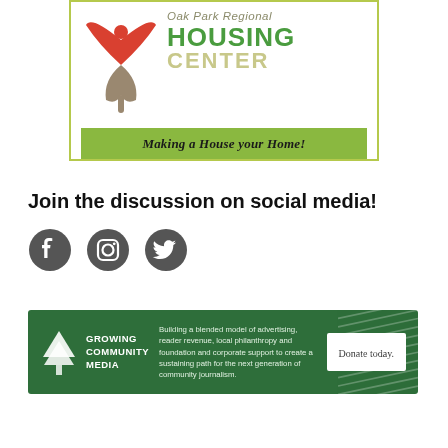[Figure (logo): Oak Park Regional Housing Center logo with stylized figure/bird icon in red and tan, green text reading HOUSING CENTER, italic text 'Oak Park Regional', tagline 'Making a House your Home!' on green bar]
Join the discussion on social media!
[Figure (illustration): Social media icons: Facebook, Instagram, Twitter (grey circular icons)]
[Figure (infographic): Growing Community Media banner ad with tree logo, text about blended model of community journalism, and Donate today button on dark green background]